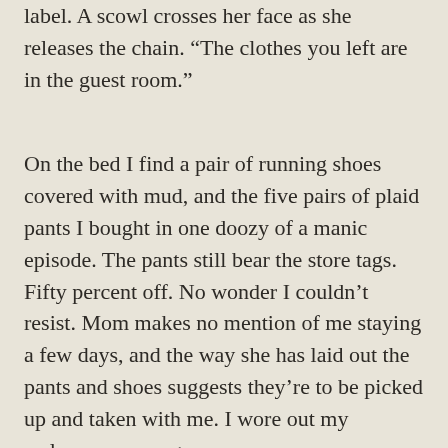label. A scowl crosses her face as she releases the chain. “The clothes you left are in the guest room.”
On the bed I find a pair of running shoes covered with mud, and the five pairs of plaid pants I bought in one doozy of a manic episode. The pants still bear the store tags. Fifty percent off. No wonder I couldn’t resist. Mom makes no mention of me staying a few days, and the way she has laid out the pants and shoes suggests they’re to be picked up and taken with me. I wore out my welcome years ago.